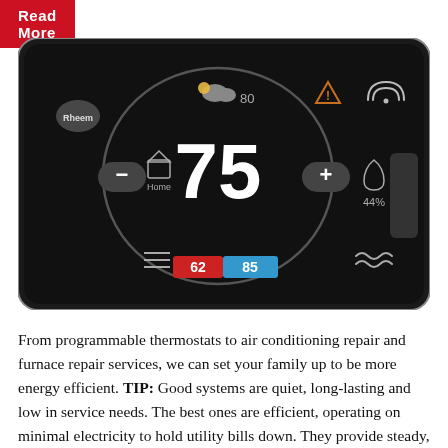Read More
[Figure (photo): Smart programmable thermostat with dark touchscreen display showing temperature 75°F, heat setting 62, cool setting 85, humidity 44%, weather icon showing 80°, WiFi and alert icons.]
From programmable thermostats to air conditioning repair and furnace repair services, we can set your family up to be more energy efficient. TIP: Good systems are quiet, long-lasting and low in service needs. The best ones are efficient, operating on minimal electricity to hold utility bills down. They provide steady,